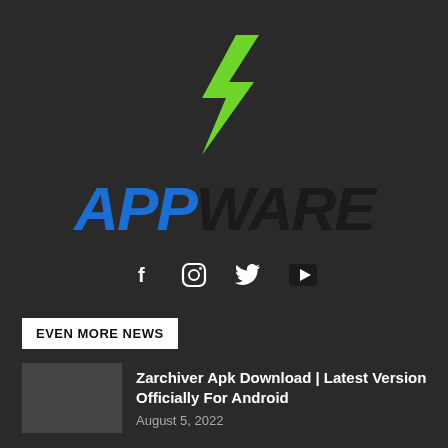[Figure (logo): AppWare logo with green lightning bolt above and stylized text APPWARE where APP is in blue italic bold and WARE is in dark/black italic bold]
[Figure (infographic): Social media icons row: Facebook (f), Instagram (circle camera), Twitter (bird), YouTube (play button triangle)]
EVEN MORE NEWS
Zarchiver Apk Download | Latest Version Officially For Android
August 5, 2022